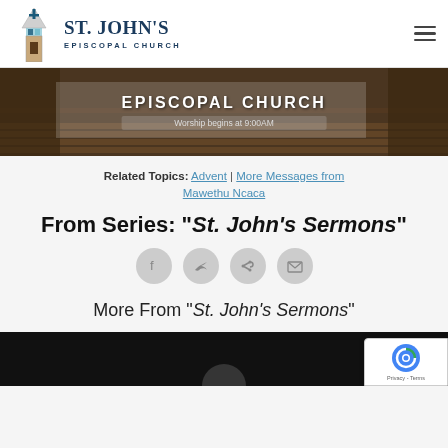[Figure (logo): St. John's Episcopal Church logo with stained glass tower icon and church name text]
[Figure (photo): Church interior banner image showing pews with text EPISCOPAL CHURCH and Worship begins at 9:00AM]
Related Topics: Advent | More Messages from Mawethu Ncaca
From Series: "St. John's Sermons"
[Figure (infographic): Social share buttons: Facebook, Twitter, Share, Email icons in grey circles]
More From "St. John's Sermons"
[Figure (photo): Bottom video thumbnail area, dark/black background, partially visible]
[Figure (other): reCAPTCHA badge in bottom right corner showing Privacy - Terms]